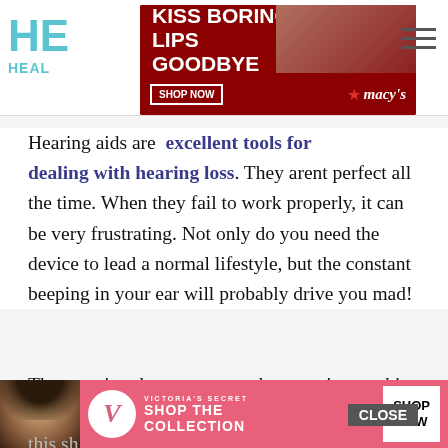[Figure (screenshot): Website header with HE/HEALTH logo on left, Macy's 'Kiss Boring Lips Goodbye' advertisement banner in center, hamburger menu icon on right]
Hearing aids are excellent tools for dealing with hearing loss. They arent perfect all the time. When they fail to work properly, it can be very frustrating. Not only do you need the device to lead a normal lifestyle, but the constant beeping in your ear will probably drive you mad!
The question that everyone who experiences this sensation wants to answer is, why does my hearing aid keep beeping? The truth is that it can be a host of factors, so the issue isnt as straightforward to fix as you might imagine. Still, this sh... [continues]
[Figure (screenshot): Victoria's Secret advertisement banner at bottom with model, Shop the Collection text, and Shop Now button. CLOSE button overlay visible.]